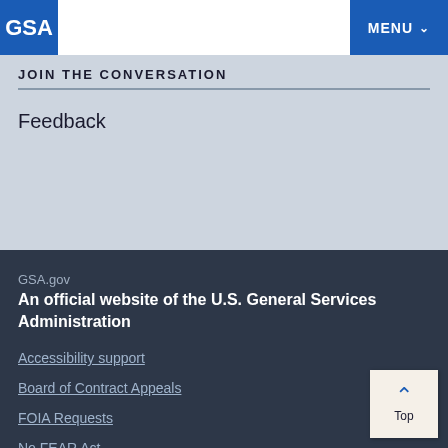GSA | MENU
JOIN THE CONVERSATION
Feedback
GSA.gov
An official website of the U.S. General Services Administration
Accessibility support
Board of Contract Appeals
FOIA Requests
No FEAR Act